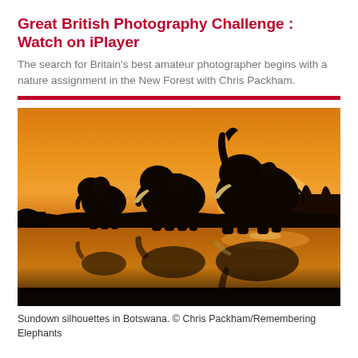Great British Photography Challenge : Watch on iPlayer
The search for Britain's best amateur photographer begins with a nature assignment in the New Forest with Chris Packham.
[Figure (photo): Silhouettes of three elephants against a vivid orange sunset sky reflected in still water in Botswana. The elephants are silhouetted, with trunks raised, and trees visible in the background. The reflection in the water mirrors the scene below.]
Sundown silhouettes in Botswana. © Chris Packham/Remembering Elephants